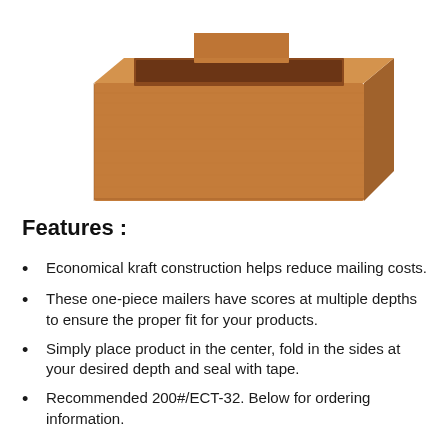[Figure (photo): A kraft cardboard one-piece mailer box shown at an angle, open at the top, with a smaller flap visible inside, on a white background.]
Features :
Economical kraft construction helps reduce mailing costs.
These one-piece mailers have scores at multiple depths to ensure the proper fit for your products.
Simply place product in the center, fold in the sides at your desired depth and seal with tape.
Recommended 200#/ECT-32. Below for ordering information.